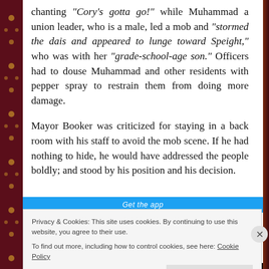chanting “Cory’s gotta go!” while Muhammad a union leader, who is a male, led a mob and “stormed the dais and appeared to lunge toward Speight,” who was with her “grade-school-age son.” Officers had to douse Muhammad and other residents with pepper spray to restrain them from doing more damage.
Mayor Booker was criticized for staying in a back room with his staff to avoid the mob scene. If he had nothing to hide, he would have addressed the people boldly; and stood by his position and his decision.
[Figure (screenshot): Blue 'Get the app' banner strip]
Privacy & Cookies: This site uses cookies. By continuing to use this website, you agree to their use.
To find out more, including how to control cookies, see here: Cookie Policy